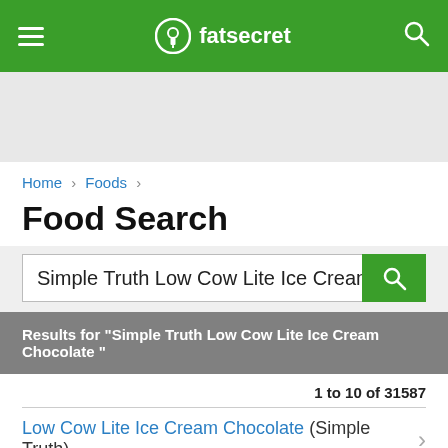fatsecret
Home › Foods ›
Food Search
Simple Truth Low Cow Lite Ice Cream C
Results for "Simple Truth Low Cow Lite Ice Cream Chocolate "
1 to 10 of 31587
Low Cow Lite Ice Cream Chocolate  (Simple Truth)
Per 1/2 cup - Calories: 60kcal | Fat: 1.50g | Carbs: 11.00g | Protein: 6.0...
Similar